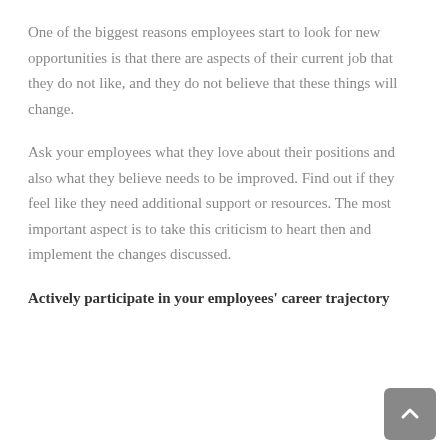One of the biggest reasons employees start to look for new opportunities is that there are aspects of their current job that they do not like, and they do not believe that these things will change.
Ask your employees what they love about their positions and also what they believe needs to be improved. Find out if they feel like they need additional support or resources. The most important aspect is to take this criticism to heart then and implement the changes discussed.
Actively participate in your employees' career trajectory